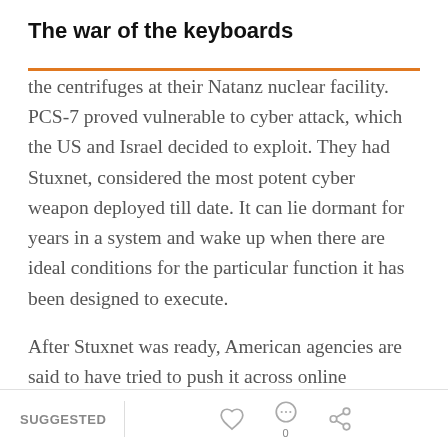The war of the keyboards
the centrifuges at their Natanz nuclear facility. PCS-7 proved vulnerable to cyber attack, which the US and Israel decided to exploit. They had Stuxnet, considered the most potent cyber weapon deployed till date. It can lie dormant for years in a system and wake up when there are ideal conditions for the particular function it has been designed to execute.
After Stuxnet was ready, American agencies are said to have tried to push it across online
SUGGESTED  0